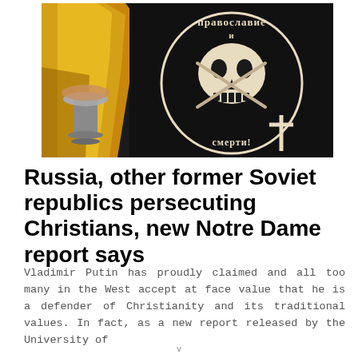[Figure (photo): A person in a yellow/gold religious robe holding a chalice, next to someone wearing a black t-shirt with a skull graphic and Cyrillic text reading 'Православие или Смерть!' (Orthodoxy or Death!)]
Russia, other former Soviet republics persecuting Christians, new Notre Dame report says
Vladimir Putin has proudly claimed and all too many in the West accept at face value that he is a defender of Christianity and its traditional values. In fact, as a new report released by the University of
v